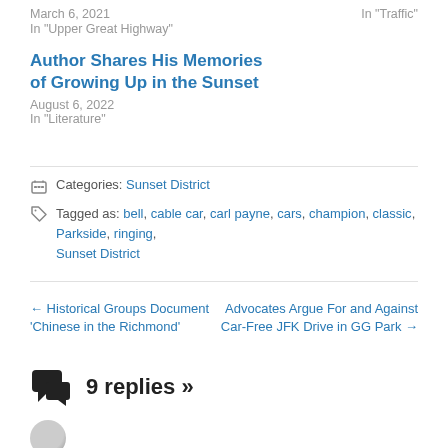March 6, 2021
In "Upper Great Highway"
In "Traffic"
Author Shares His Memories of Growing Up in the Sunset
August 6, 2022
In "Literature"
Categories: Sunset District
Tagged as: bell, cable car, carl payne, cars, champion, classic, Parkside, ringing, Sunset District
← Historical Groups Document 'Chinese in the Richmond'
Advocates Argue For and Against Car-Free JFK Drive in GG Park →
9 replies »